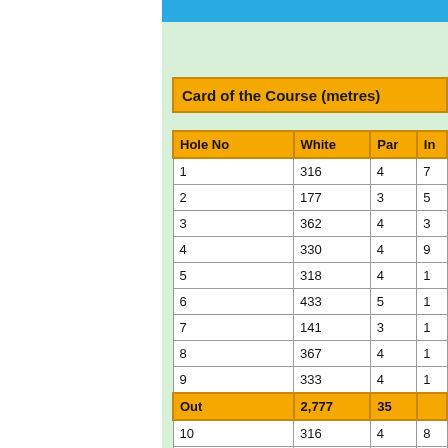Card of the Course (metres)
| Hole No | White | Par | In |
| --- | --- | --- | --- |
| 1 | 316 | 4 | 7 |
| 2 | 177 | 3 | 5 |
| 3 | 362 | 4 | 3 |
| 4 | 330 | 4 | 9 |
| 5 | 318 | 4 | 1 |
| 6 | 433 | 5 | 1 |
| 7 | 141 | 3 | 1 |
| 8 | 367 | 4 | 1 |
| 9 | 333 | 4 | 1 |
| Out | 2,777 | 35 |  |
| 10 | 316 | 4 | 8 |
| 11 | 177 | 3 | 6 |
| 12 | 362 | 4 | 4 |